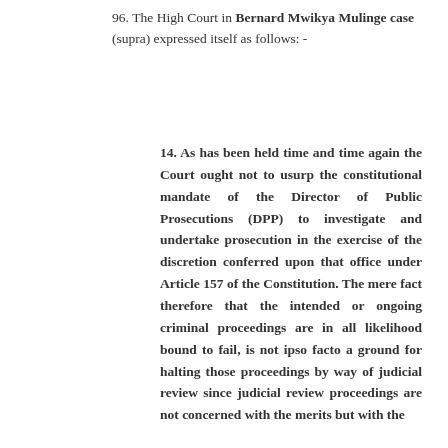96. The High Court in Bernard Mwikya Mulinge case (supra) expressed itself as follows: -
14. As has been held time and time again the Court ought not to usurp the constitutional mandate of the Director of Public Prosecutions (DPP) to investigate and undertake prosecution in the exercise of the discretion conferred upon that office under Article 157 of the Constitution. The mere fact therefore that the intended or ongoing criminal proceedings are in all likelihood bound to fail, is not ipso facto a ground for halting those proceedings by way of judicial review since judicial review proceedings are not concerned with the merits but with the